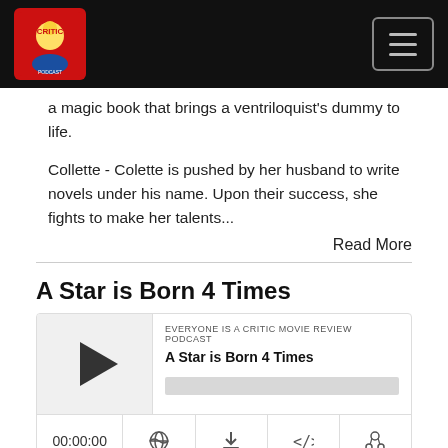Everyone is a Critic Movie Review Podcast
a magic book that brings a ventriloquist's dummy to life.
Collette - Colette is pushed by her husband to write novels under his name. Upon their success, she fights to make her talents...
Read More
A Star is Born 4 Times
[Figure (other): Podcast audio player widget showing 'A Star is Born 4 Times' episode from Everyone is a Critic Movie Review Podcast with a play button, progress bar, time display 00:00:00, and controls for RSS, download, embed, and share.]
Oct 8, 2018